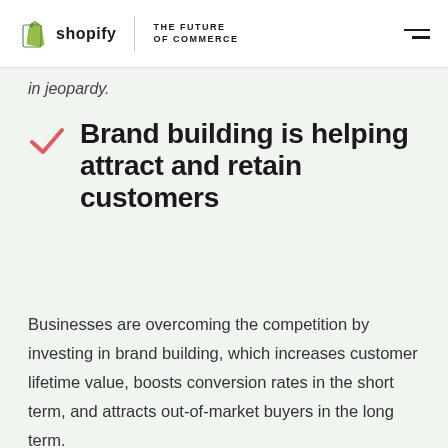shopify | THE FUTURE OF COMMERCE
in jeopardy.
Brand building is helping attract and retain customers
Businesses are overcoming the competition by investing in brand building, which increases customer lifetime value, boosts conversion rates in the short term, and attracts out-of-market buyers in the long term.